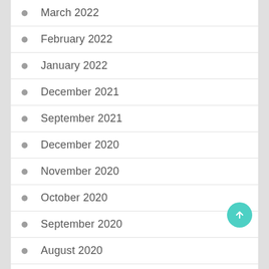March 2022
February 2022
January 2022
December 2021
September 2021
December 2020
November 2020
October 2020
September 2020
August 2020